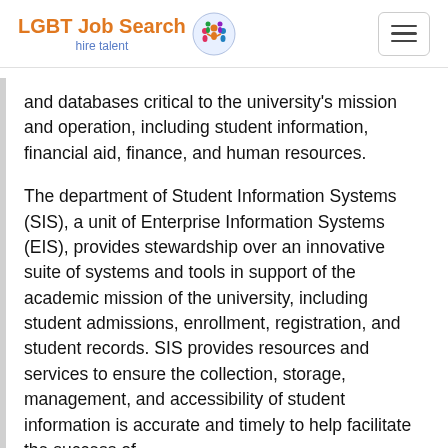LGBT Job Search hire talent
and databases critical to the university's mission and operation, including student information, financial aid, finance, and human resources.
The department of Student Information Systems (SIS), a unit of Enterprise Information Systems (EIS), provides stewardship over an innovative suite of systems and tools in support of the academic mission of the university, including student admissions, enrollment, registration, and student records. SIS provides resources and services to ensure the collection, storage, management, and accessibility of student information is accurate and timely to help facilitate the success of